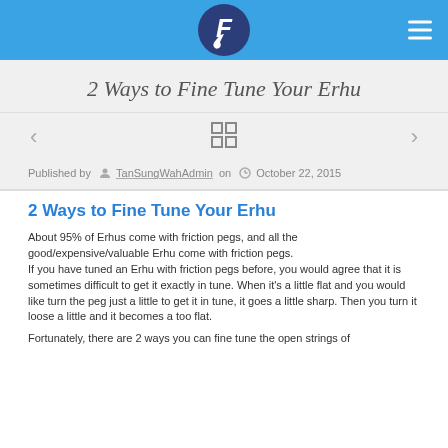[Figure (logo): Blue navigation bar with a circular music note logo (letter F with musical note) centered, and a hamburger menu icon on the right]
2 Ways to Fine Tune Your Erhu
[Figure (other): Navigation row with left arrow, grid/gallery icon, and right arrow on gray background]
Published by TanSungWahAdmin on October 22, 2015
2 Ways to Fine Tune Your Erhu
About 95% of Erhus come with friction pegs, and all the good/expensive/valuable Erhu come with friction pegs.
If you have tuned an Erhu with friction pegs before, you would agree that it is sometimes difficult to get it exactly in tune. When it's a little flat and you would like turn the peg just a little to get it in tune, it goes a little sharp. Then you turn it loose a little and it becomes a too flat.
Fortunately, there are 2 ways you can fine tune the open strings of